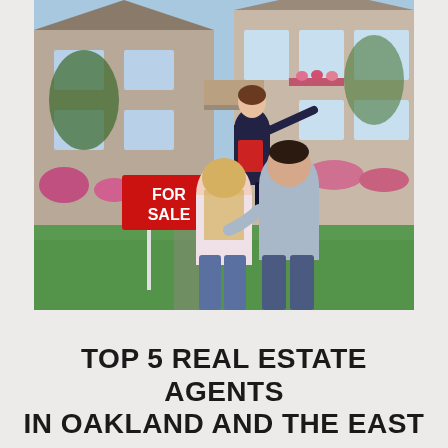[Figure (photo): A real estate agent in a dark suit holding a red folder, smiling and gesturing toward a large house. A couple stands in the foreground with their backs to the camera. A red FOR SALE sign is visible on the lawn. The house has multiple windows, flower boxes, and landscaped gardens.]
TOP 5 REAL ESTATE AGENTS IN OAKLAND AND THE EAST